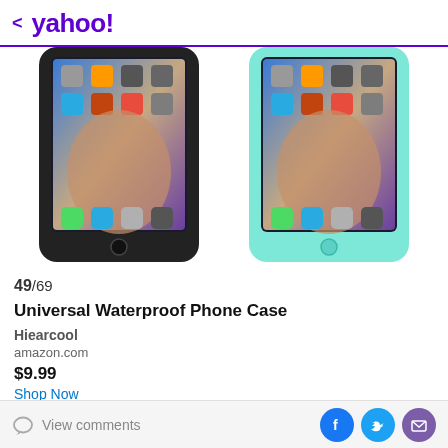< yahoo!
[Figure (photo): Two waterproof phone cases shown side by side — one black on the left and one teal/mint on the right — each holding a smartphone with the iPhone home screen visible.]
49/69
Universal Waterproof Phone Case
Hiearcool
amazon.com
$9.99
Shop Now
View comments | Facebook | Twitter | Email